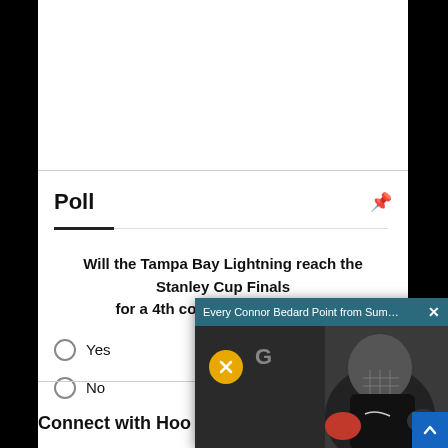Poll
Will the Tampa Bay Lightning reach the Stanley Cup Finals for a 4th consecutive season?
Yes
No
[Figure (screenshot): Video popup showing 'Every Connor Bedard Point from Summ...' with a hockey player thumbnail, scoreboard bar showing GOAL, mute button, close button, and a scroll-up arrow button.]
Connect with Hoo